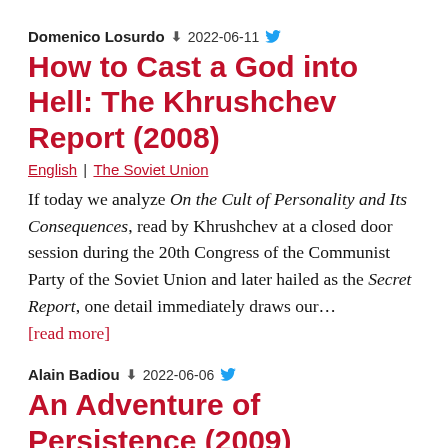Domenico Losurdo ↵ 2022-06-11 [twitter]
How to Cast a God into Hell: The Khrushchev Report (2008)
English | The Soviet Union
If today we analyze On the Cult of Personality and Its Consequences, read by Khrushchev at a closed door session during the 20th Congress of the Communist Party of the Soviet Union and later hailed as the Secret Report, one detail immediately draws our…
[read more]
Alain Badiou ↵ 2022-06-06 [twitter]
An Adventure of Persistence (2009)
English Français
Love cannot be reduced to the first encounter, for it is a